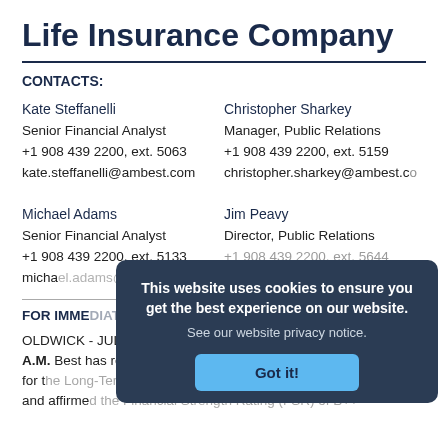Life Insurance Company
CONTACTS:
Kate Steffanelli
Senior Financial Analyst
+1 908 439 2200, ext. 5063
kate.steffanelli@ambest.com
Christopher Sharkey
Manager, Public Relations
+1 908 439 2200, ext. 5159
christopher.sharkey@ambest.com
Michael Adams
Senior Financial Analyst
+1 908 439 2200, ext. 5133
michael.adams@ambest.com
Jim Peavy
Director, Public Relations
+1 908 439 2200, ext. 5644
FOR IMMEDIATE RELEASE:
OLDWICK - JULY 27, 2017
A.M. Best has revised the outlook to positive from stable for the Long-Term Issuer Credit Rating (Long-Term ICR) and affirmed the Financial Strength Rating (FSR) of B++